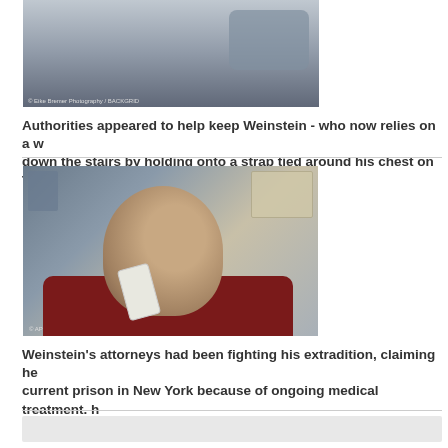[Figure (photo): Partial photo at top of page showing what appears to be a person near a vehicle, with photo credit text overlaid at bottom left reading '© Eike Bremer Photography / BACKGRID']
Authorities appeared to help keep Weinstein - who now relies on a w... down the stairs by holding onto a strap tied around his chest on Tu...
[Figure (photo): Photo showing Harvey Weinstein in a dark red/maroon sweater with a white face mask hanging around his neck, inside what appears to be an official building. Photo credit: AP]
Weinstein's attorneys had been fighting his extradition, claiming he... current prison in New York because of ongoing medical treatment. h... his last hearing before he was extradited